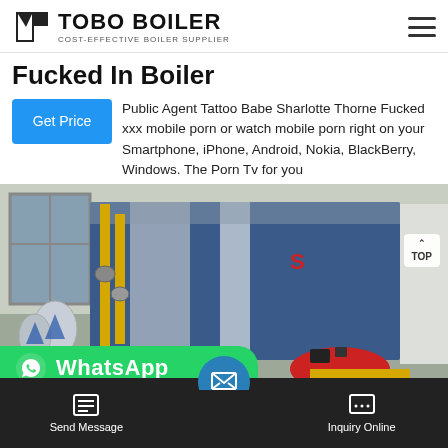TOBO BOILER — COST-EFFECTIVE BOILER SUPPLIER
Fucked In Boiler
Public Agent Tattoo Babe Sharlotte Thorne Fucked xxx mobile porn or watch mobile porn right on your Smartphone, iPhone, Android, Nokia, BlackBerry, Windows. The Porn Tv for you
[Figure (photo): Industrial boiler unit in a facility room with yellow gas pipes, blue boiler body with red burner attached, and white equipment in background. WhatsApp contact bar visible at bottom left.]
Send Message | Inquiry Online